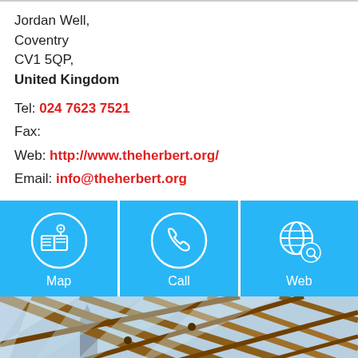Jordan Well,
Coventry
CV1 5QP,
United Kingdom
Tel: 024 7623 7521
Fax:
Web: http://www.theherbert.org/
Email: info@theherbert.org
[Figure (infographic): Three blue buttons: Map (map/location icon), Call (phone icon), Web (globe/web icon)]
[Figure (photo): Interior architectural photo showing wooden beam roof structure with glass panels, with a cathedral visible in the background]